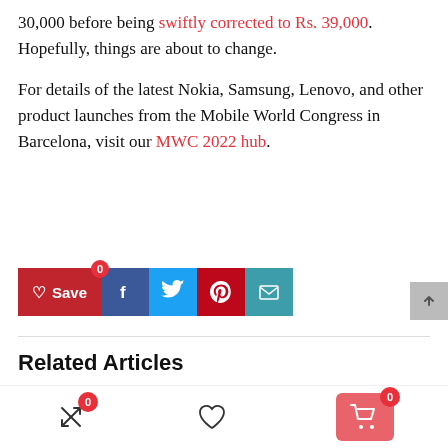30,000 before being swiftly corrected to Rs. 39,000. Hopefully, things are about to change.
For details of the latest Nokia, Samsung, Lenovo, and other product launches from the Mobile World Congress in Barcelona, visit our MWC 2022 hub.
[Figure (infographic): Social sharing buttons: Save (heart icon, red background, count 0), Facebook (blue), Twitter (light blue), Pinterest (red), Email (teal). Scroll-to-top arrow button at right.]
Related Articles
[Figure (infographic): Bottom navigation bar with three icons: shuffle/compare icon with badge 0, heart/wishlist icon, and cart button (salmon/red background) with badge 0.]